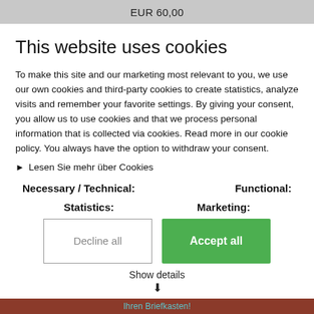EUR 60,00
This website uses cookies
To make this site and our marketing most relevant to you, we use our own cookies and third-party cookies to create statistics, analyze visits and remember your favorite settings. By giving your consent, you allow us to use cookies and that we process personal information that is collected via cookies. Read more in our cookie policy. You always have the option to withdraw your consent.
Lesen Sie mehr über Cookies
Necessary / Technical:
Functional:
Statistics:
Marketing:
Decline all
Accept all
Show details
Ihren Briefkasten!